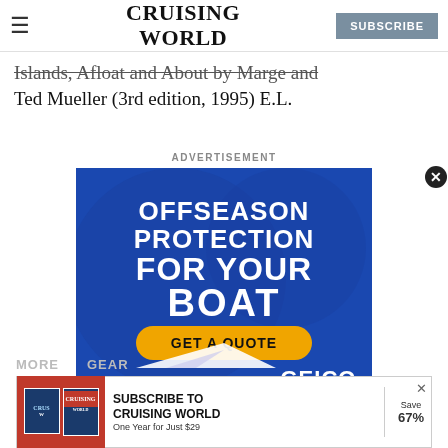CRUISING WORLD | SUBSCRIBE
Islands, Afloat and About by Marge and Ted Mueller (3rd edition, 1995) E.L.
ADVERTISEMENT
[Figure (illustration): GEICO boat insurance advertisement: Blue background with text 'OFFSEASON PROTECTION FOR YOUR BOAT' and a yellow 'GET A QUOTE' button, GEICO logo, and stylized boat graphic with water waves.]
[Figure (illustration): Subscribe banner: Two Cruising World magazine covers on red background, text 'SUBSCRIBE TO CRUISING WORLD One Year for Just $29', Save 67% label, and X close button.]
MORE   GEAR